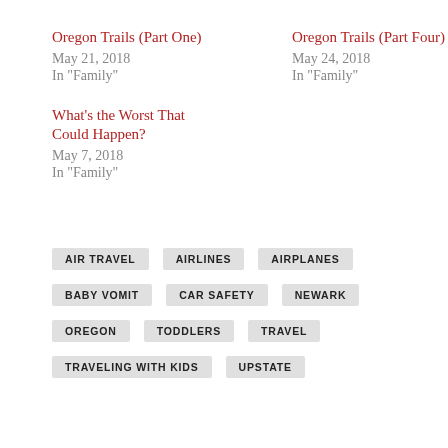Oregon Trails (Part One)
May 21, 2018
In "Family"
Oregon Trails (Part Four)
May 24, 2018
In "Family"
What’s the Worst That Could Happen?
May 7, 2018
In "Family"
AIR TRAVEL
AIRLINES
AIRPLANES
BABY VOMIT
CAR SAFETY
NEWARK
OREGON
TODDLERS
TRAVEL
TRAVELING WITH KIDS
UPSTATE